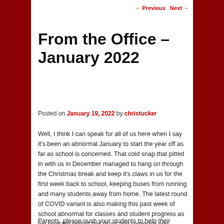← Previous   Next →
From the Office – January 2022
Posted on January 19, 2022 by christucker
Well, I think I can speak for all of us here when I say it's been an abnormal January to start the year off as far as school is concerned. That cold snap that pitted in with us in December managed to hang on through the Christmas break and keep it's claws in us for the first week back to school, keeping buses from running and many students away from home. The latest round of COVID variant is also making this past week of school abnormal for classes and student progress as we near the end of this quad and semester one.
Parents, please push your students to help their teachers